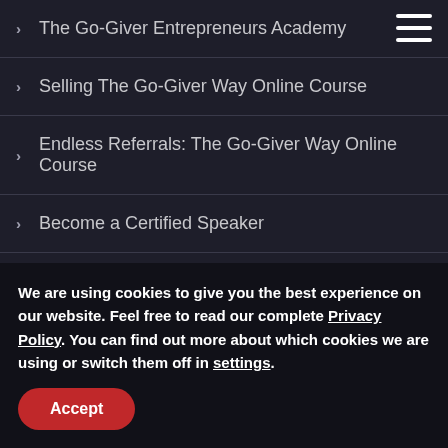The Go-Giver Entrepreneurs Academy
Selling The Go-Giver Way Online Course
Endless Referrals: The Go-Giver Way Online Course
Become a Certified Speaker
Book Bob as Your Keynote Speaker
Resources
Contact Us
We are using cookies to give you the best experience on our website. Feel free to read our complete Privacy Policy. You can find out more about which cookies we are using or switch them off in settings.